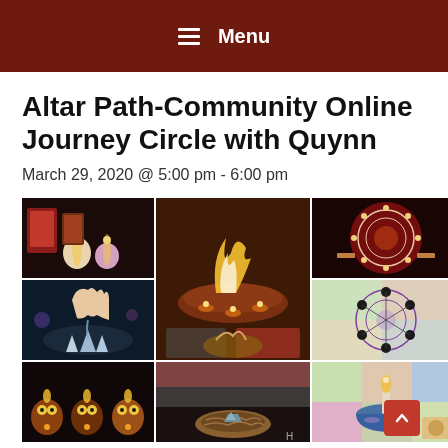Menu
Altar Path-Community Online Journey Circle with Quynn
March 29, 2020 @ 5:00 pm - 6:00 pm
[Figure (photo): A 3x3 collage of altar and spiritual items: candles with tarot cards, fire ritual bowl with flames and small oil lamps, circular patterned textile with ritual objects, a hand pouring liquid over crystals, a crystal grid mandala, colorful owl candle holders with lit flames, a bird nest with a stone, and a bowl with candle on a quilt.]